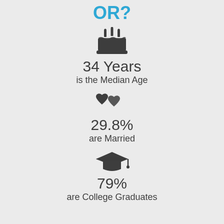OR?
[Figure (infographic): Birthday cake icon with candles]
34 Years
is the Median Age
[Figure (infographic): Two hearts icon representing marriage]
29.8%
are Married
[Figure (infographic): Graduation cap icon]
79%
are College Graduates